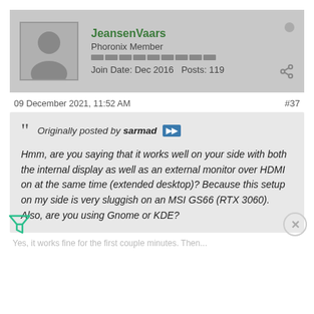JeansenVaars
Phoronix Member
Join Date: Dec 2016  Posts: 119
09 December 2021, 11:52 AM
#37
Originally posted by sarmad
Hmm, are you saying that it works well on your side with both the internal display as well as an external monitor over HDMI on at the same time (extended desktop)? Because this setup on my side is very sluggish on an MSI GS66 (RTX 3060). Also, are you using Gnome or KDE?